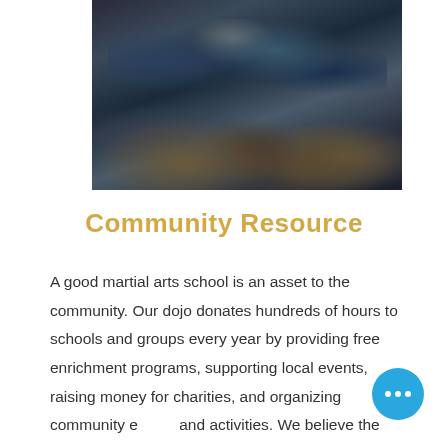[Figure (photo): Group of children sitting on the floor viewed from behind, in a darkened room setting, likely a martial arts dojo or school gymnasium]
Community Resource
A good martial arts school is an asset to the community. Our dojo donates hundreds of hours to schools and groups every year by providing free enrichment programs, supporting local events, raising money for charities, and organizing community events and activities. We believe the dojo has walls, and we work to be an active